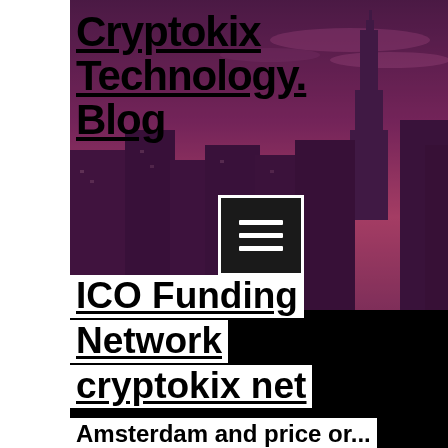Cryptokix Technology Blog
[Figure (photo): Purple-tinted aerial cityscape of New York City skyline at dusk with dramatic sky]
[Figure (other): Hamburger menu button (three horizontal lines) on dark background]
ICO Funding Network cryptokix net
Amsterdam and price or...